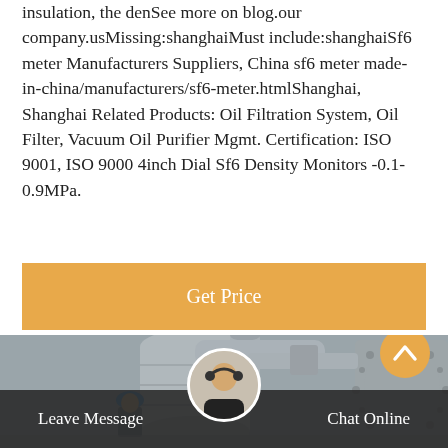insulation, the denSee more on blog.our company.usMissing:shanghaiMust include:shanghaiSf6 meter Manufacturers Suppliers, China sf6 meter made-in-china/manufacturers/sf6-meter.htmlShanghai, Shanghai Related Products: Oil Filtration System, Oil Filter, Vacuum Oil Purifier Mgmt. Certification: ISO 9001, ISO 9000 4inch Dial Sf6 Density Monitors -0.1-0.9MPa.
Get Price
[Figure (photo): Industrial equipment: large cylindrical pipes and valves in gray, with a worker wearing a blue hard hat visible in the foreground]
Leave Message | Chat Online